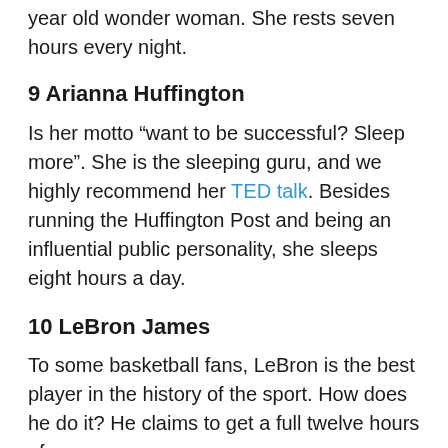year old wonder woman. She rests seven hours every night.
9 Arianna Huffington
Is her motto “want to be successful? Sleep more”. She is the sleeping guru, and we highly recommend her TED talk. Besides running the Huffington Post and being an influential public personality, she sleeps eight hours a day.
10 LeBron James
To some basketball fans, LeBron is the best player in the history of the sport. How does he do it? He claims to get a full twelve hours of